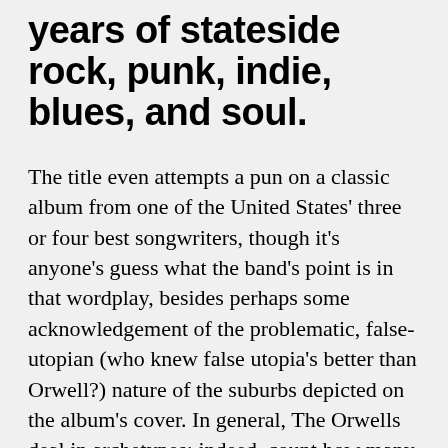years of stateside rock, punk, indie, blues, and soul.
The title even attempts a pun on a classic album from one of the United States' three or four best songwriters, though it's anyone's guess what the band's point is in that wordplay, besides perhaps some acknowledgement of the problematic, false-utopian (who knew false utopia's better than Orwell?) nature of the suburbs depicted on the album's cover. In general, The Orwells deal in archetypes; indeed, count how many records you can think of with that dramatic motorcycle purr, and assume there are at least a hundred more